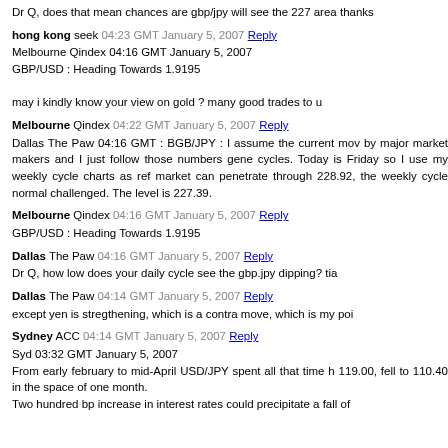Dr Q, does that mean chances are gbp/jpy will see the 227 area thanks
hong kong seek 04:23 GMT January 5, 2007 Reply
Melbourne Qindex 04:16 GMT January 5, 2007
GBP/USD : Heading Towards 1.9195

may i kindly know your view on gold ? many good trades to u
Melbourne Qindex 04:22 GMT January 5, 2007 Reply
Dallas The Paw 04:16 GMT : BGB/JPY : I assume the current mov by major market makers and I just follow those numbers gene cycles. Today is Friday so I use my weekly cycle charts as ref market can penetrate through 228.92, the weekly cycle normal challenged. The level is 227.39.
Melbourne Qindex 04:16 GMT January 5, 2007 Reply
GBP/USD : Heading Towards 1.9195
Dallas The Paw 04:16 GMT January 5, 2007 Reply
Dr Q, how low does your daily cycle see the gbp.jpy dipping? tia
Dallas The Paw 04:14 GMT January 5, 2007 Reply
except yen is stregthening, which is a contra move, which is my poi
Sydney ACC 04:14 GMT January 5, 2007 Reply
Syd 03:32 GMT January 5, 2007
From early february to mid-April USD/JPY spent all that time h 119.00, fell to 110.40 in the space of one month.
Two hundred bp increase in interest rates could precipitate a fall of